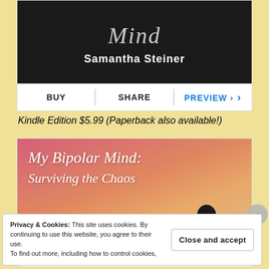[Figure (illustration): Book cover with dark background showing cursive title 'Mind' and author name 'Samantha Steiner' in white bold text]
BUY    SHARE    PREVIEW ›
Kindle Edition $5.99 (Paperback also available!)
[Figure (illustration): Book cover with pink-to-orange gradient background showing title 'My Bipolar Mind: Surviving the Chaos' in white italic script with a silhouette]
Privacy & Cookies: This site uses cookies. By continuing to use this website, you agree to their use. To find out more, including how to control cookies,